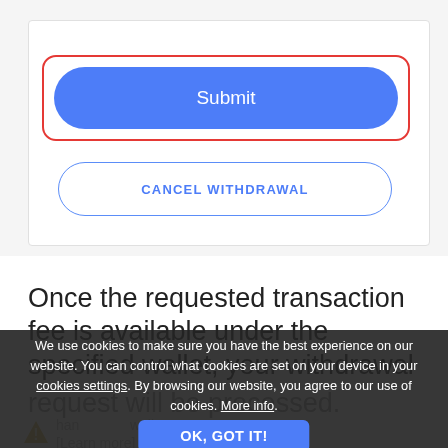[Figure (screenshot): Blue Submit button with red border highlight outline]
[Figure (screenshot): Cancel Withdrawal button with blue border outline]
Once the requested transaction fee is available under the specified wallet, your withdrawal request will be processed.
We use cookies to make sure you have the best experience on our website. You can control what cookies are set on your device in your cookies settings. By browsing our website, you agree to our use of cookies. More info.
[Figure (screenshot): OK, GOT IT! button in blue]
[Learn more]